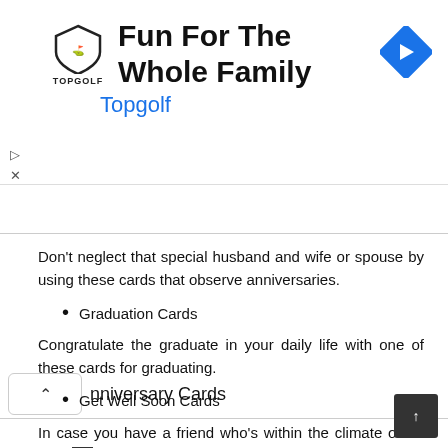[Figure (other): Topgolf advertisement banner with logo, title 'Fun For The Whole Family', subtitle 'Topgolf', and a blue navigation arrow icon]
Anniversary Cards
Don't neglect that special husband and wife or spouse by using these cards that observe anniversaries.
Graduation Cards
Congratulate the graduate in your daily life with one of these cards for graduating.
Get Well Soon Cards
In case you have a friend who's within the climate or on the path to rehabilitation, you'll want to look into these get well soon cards.